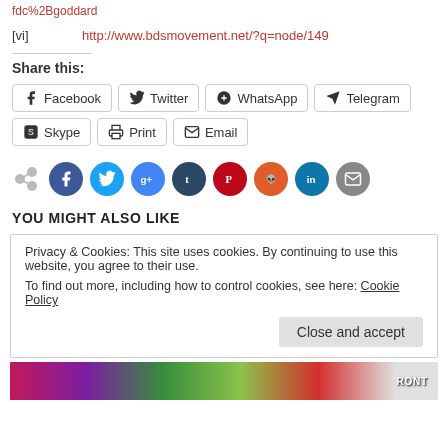fdc%2Bgoddard
[vi]  http://www.bdsmovement.net/?q=node/149
Share this:
Facebook  Twitter  WhatsApp  Telegram  Skype  Print  Email
[Figure (other): Social share icons row: share icon (gray), Facebook (blue), Twitter (light blue), Google+ (blue), Tumblr (dark blue), Pinterest (red), Reddit (orange-red), LinkedIn (teal), Email (gray)]
YOU MIGHT ALSO LIKE
Privacy & Cookies: This site uses cookies. By continuing to use this website, you agree to their use.
To find out more, including how to control cookies, see here: Cookie Policy
Close and accept